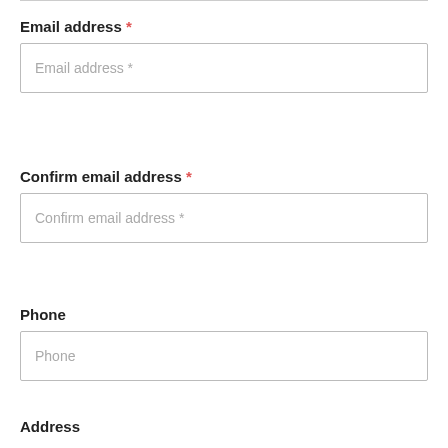Email address *
Email address *
Confirm email address *
Confirm email address *
Phone
Phone
Address